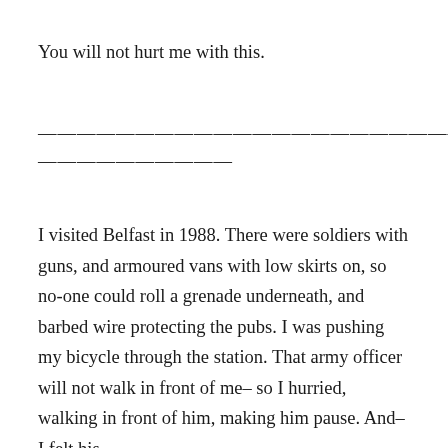You will not hurt me with this.
————————————————————————————————————————
I visited Belfast in 1988. There were soldiers with guns, and armoured vans with low skirts on, so no-one could roll a grenade underneath, and barbed wire protecting the pubs. I was pushing my bicycle through the station. That army officer will not walk in front of me– so I hurried, walking in front of him, making him pause. And– I felt his